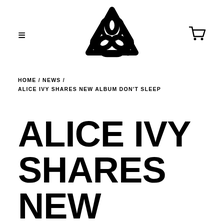[Figure (logo): Alice Ivy / Allure Music triangular knot logo in black]
HOME / NEWS / ALICE IVY SHARES NEW ALBUM DON'T SLEEP
ALICE IVY SHARES NEW ALBUM DON'T SLEEP